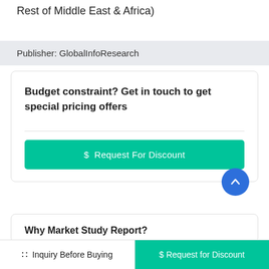Rest of Middle East & Africa)
Publisher: GlobalInfoResearch
Budget constraint? Get in touch to get special pricing offers
$ Request For Discount
Why Market Study Report?
Inquiry Before Buying | $ Request for Discount